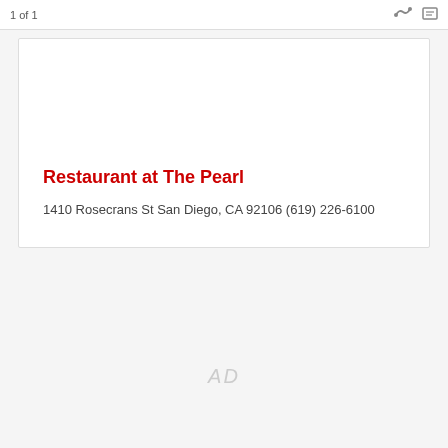1 of 1
Restaurant at The Pearl
1410 Rosecrans St San Diego, CA 92106 (619) 226-6100
AD